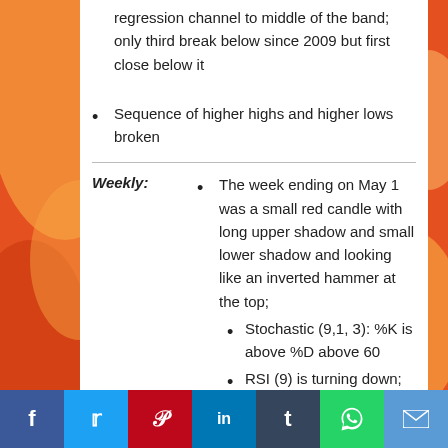regression channel to middle of the band; only third break below since 2009 but first close below it
Sequence of higher highs and higher lows broken
Weekly: The week ending on May 1 was a small red candle with long upper shadow and small lower shadow and looking like an inverted hammer at the top; Stochastic (9,1, 3): %K is above %D above 60; RSI (9) is turning down; near 50
f | t | p | in | t | WhatsApp | email